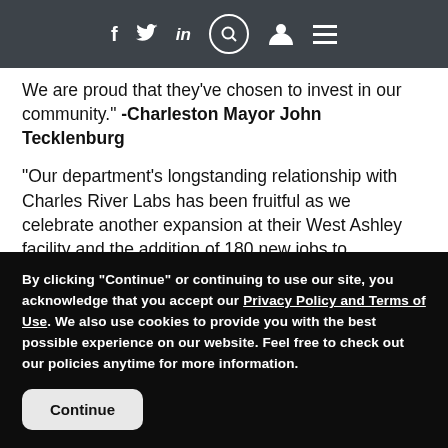Navigation bar with social icons: f, Twitter, in, search, user, menu
We are proud that they've chosen to invest in our community." -Charleston Mayor John Tecklenburg
"Our department's longstanding relationship with Charles River Labs has been fruitful as we celebrate another expansion at their West Ashley facility and the addition of 180 new jobs to Charleston County. We will continue to support their growth through our Business Concierge program." -Charleston County Economic Development Executive Director Steve Dykes
By clicking "Continue" or continuing to use our site, you acknowledge that you accept our Privacy Policy and Terms of Use. We also use cookies to provide you with the best possible experience on our website. Feel free to check out our policies anytime for more information.
Continue